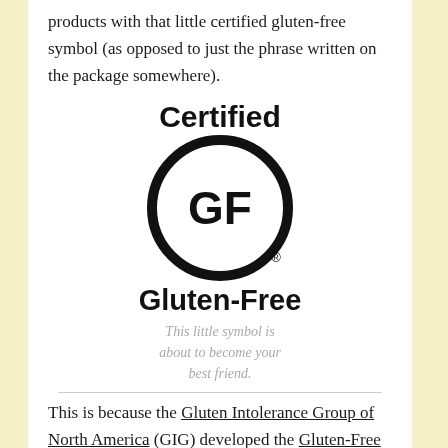products with that little certified gluten-free symbol (as opposed to just the phrase written on the package somewhere).
[Figure (logo): Certified Gluten-Free logo: bold text 'Certified' above a large circle containing bold 'GF' with a registered trademark symbol, bold text 'Gluten-Free' below the circle, and italic gray caption text 'This little symbol is about to become your best friend.']
This is because the Gluten Intolerance Group of North America (GIG) developed the Gluten-Free Certification Organization (GFCO) which provides 3rd party certification of gluten-free products. As its name suggests, they'll certify gluten-free